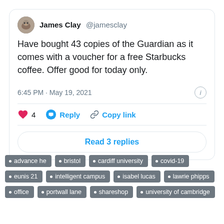[Figure (screenshot): Tweet screenshot from James Clay @jamesclay saying 'Have bought 43 copies of the Guardian as it comes with a voucher for a free Starbucks coffee. Offer good for today only.' Posted at 6:45 PM · May 19, 2021. Shows 4 likes, Reply and Copy link actions, and a Read 3 replies button.]
advance he
bristol
cardiff university
covid-19
eunis 21
intelligent campus
isabel lucas
lawrie phipps
office
portwall lane
shareshop
university of cambridge